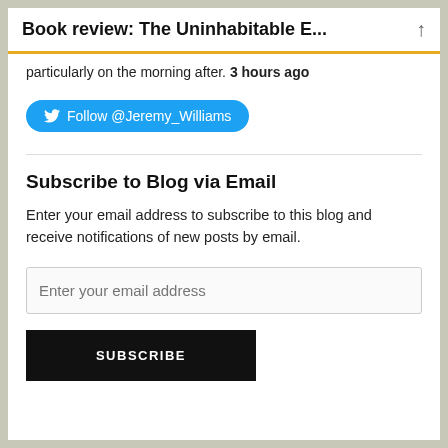Book review: The Uninhabitable E...
particularly on the morning after. 3 hours ago
[Figure (other): Twitter Follow button: Follow @Jeremy_Williams]
Subscribe to Blog via Email
Enter your email address to subscribe to this blog and receive notifications of new posts by email.
Enter your email address
SUBSCRIBE